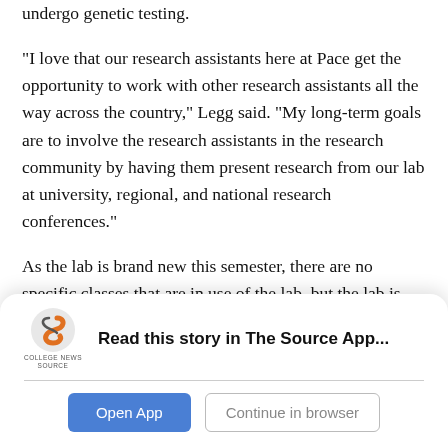undergo genetic testing.
“I love that our research assistants here at Pace get the opportunity to work with other research assistants all the way across the country,” Legg said. “My long-term goals are to involve the research assistants in the research community by having them present research from our lab at university, regional, and national research conferences.”
As the lab is brand new this semester, there are no specific classes that are in use of the lab, but the lab is still growing and expanding. It is hoped that the lab will be incorporated into the introductory courses of the psychology department, but it is still yet to be determined how the lab will be
[Figure (logo): College News Source app logo — orange and grey S-shaped icon above text reading COLLEGE NEWS SOURCE]
Read this story in The Source App...
Open App
Continue in browser